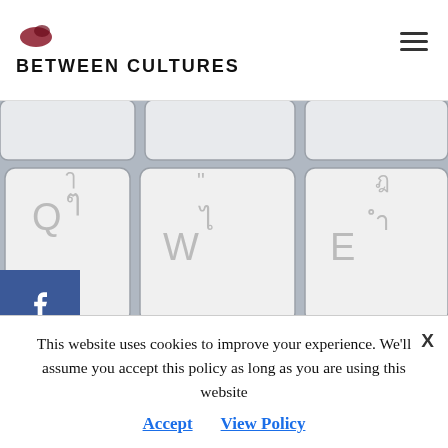BETWEEN CULTURES
[Figure (photo): Close-up of a keyboard with Thai language characters on the keys (Q, W, E, A, S, D keys visible with Thai script)]
[Figure (infographic): Social media sharing sidebar with Facebook, Twitter, Pinterest, LinkedIn, link copy, and bookmark icons]
This website uses cookies to improve your experience. We'll assume you accept this policy as long as you are using this website
Accept   View Policy